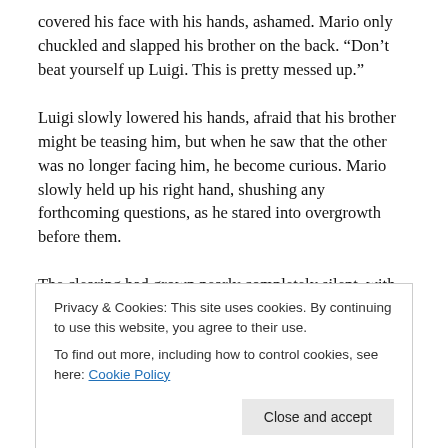covered his face with his hands, ashamed. Mario only chuckled and slapped his brother on the back. “Don’t beat yourself up Luigi. This is pretty messed up.”
Luigi slowly lowered his hands, afraid that his brother might be teasing him, but when he saw that the other was no longer facing him, he become curious. Mario slowly held up his right hand, shushing any forthcoming questions, as he stared into overgrowth before them.
The clearing had grown nearly completely silent, with the exception of the death rattles of their freshly slain
Privacy & Cookies: This site uses cookies. By continuing to use this website, you agree to their use.
To find out more, including how to control cookies, see here: Cookie Policy
Close and accept
“Shh,” Mario whispered, while taking a step backwards.